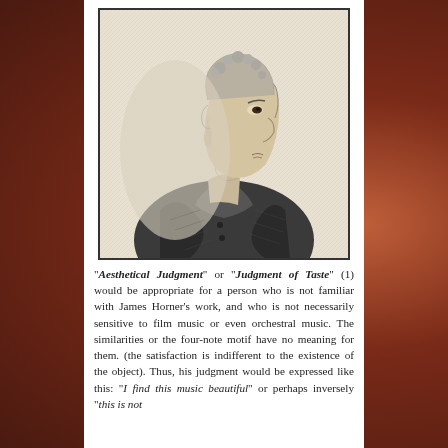[Figure (illustration): Black and white engraving portrait of a man in 18th century attire, shown in profile facing right, with curly hair and a cravat.]
"Aesthetical Judgment" or "Judgment of Taste" (1) would be appropriate for a person who is not familiar with James Horner's work, and who is not necessarily sensitive to film music or even orchestral music. The similarities or the four-note motif have no meaning for them. (the satisfaction is indifferent to the existence of the object). Thus, his judgment would be expressed like this: "I find this music beautiful" or perhaps inversely "this is not